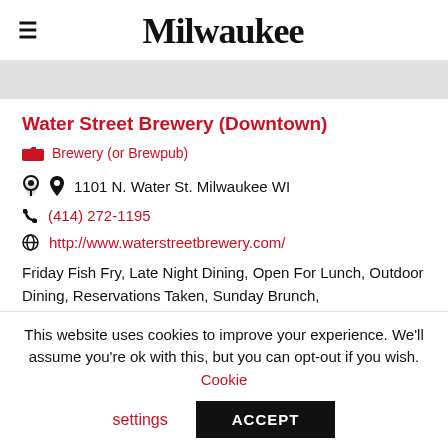Milwaukee
Water Street Brewery (Downtown)
Brewery (or Brewpub)
1101 N. Water St. Milwaukee WI
(414) 272-1195
http://www.waterstreetbrewery.com/
Friday Fish Fry, Late Night Dining, Open For Lunch, Outdoor Dining, Reservations Taken, Sunday Brunch,
This website uses cookies to improve your experience. We'll assume you're ok with this, but you can opt-out if you wish. Cookie settings ACCEPT